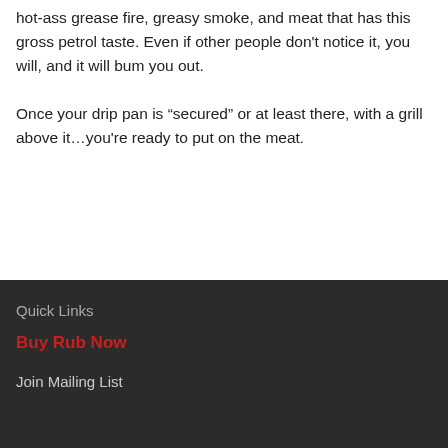hot-ass grease fire, greasy smoke, and meat that has this gross petrol taste. Even if other people don't notice it, you will, and it will bum you out.
Once your drip pan is “secured” or at least there, with a grill above it…you're ready to put on the meat.
Quick Links | Buy Rub Now | Join Mailing List